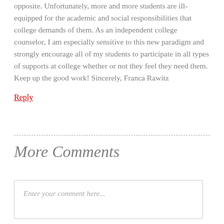opposite. Unfortunately, more and more students are ill-equipped for the academic and social responsibilities that college demands of them. As an independent college counselor, I am especially sensitive to this new paradigm and strongly encourage all of my students to participate in all types of supports at college whether or not they feel they need them. Keep up the good work! Sincerely, Franca Rawitz
Reply
More Comments
Enter your comment here...